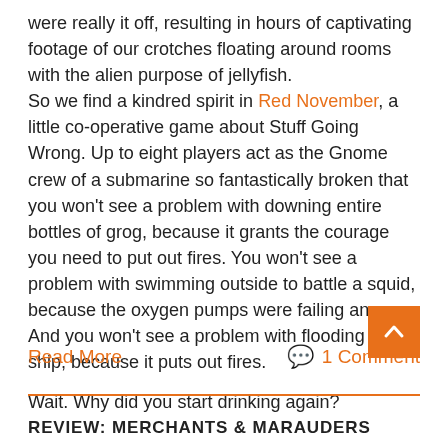were really it off, resulting in hours of captivating footage of our crotches floating around rooms with the alien purpose of jellyfish.
So we find a kindred spirit in Red November, a little co-operative game about Stuff Going Wrong. Up to eight players act as the Gnome crew of a submarine so fantastically broken that you won't see a problem with downing entire bottles of grog, because it grants the courage you need to put out fires. You won't see a problem with swimming outside to battle a squid, because the oxygen pumps were failing anyway. And you won't see a problem with flooding the ship, because it puts out fires.
Wait. Why did you start drinking again?
Read More
1 Comment
REVIEW: MERCHANTS & MARAUDERS